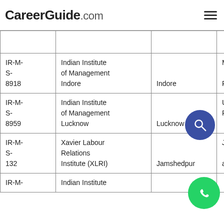CareerGuide.com
| Code | Institute | City | State |
| --- | --- | --- | --- |
|  |  |  |  |
| IR-M-S-8918 | Indian Institute of Management Indore | Indore | Madhya Pradesh |
| IR-M-S-8959 | Indian Institute of Management Lucknow | Lucknow | Uttar Pradesh |
| IR-M-S-132 | Xavier Labour Relations Institute (XLRI) | Jamshedpur | Jharkhand |
| IR-M- | Indian Institute |  |  |